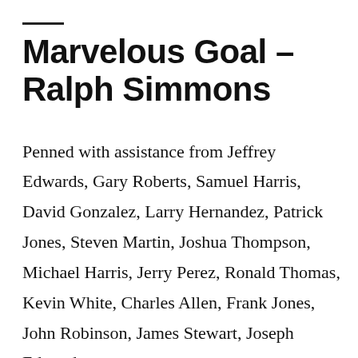Marvelous Goal – Ralph Simmons
Penned with assistance from Jeffrey Edwards, Gary Roberts, Samuel Harris, David Gonzalez, Larry Hernandez, Patrick Jones, Steven Martin, Joshua Thompson, Michael Harris, Jerry Perez, Ronald Thomas, Kevin White, Charles Allen, Frank Jones, John Robinson, James Stewart, Joseph Edwards